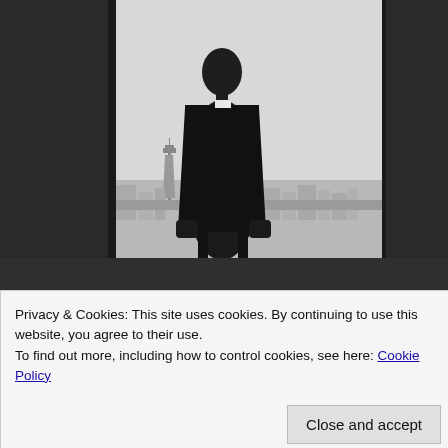[Figure (photo): Black and white photo of a man in a dark suit standing with his back to the camera, looking out large floor-to-ceiling windows at a city skyline with the Seattle Space Needle visible in the distance.]
Privacy & Cookies: This site uses cookies. By continuing to use this website, you agree to their use.
To find out more, including how to control cookies, see here: Cookie Policy
Close and accept
before we made our way to the theater we